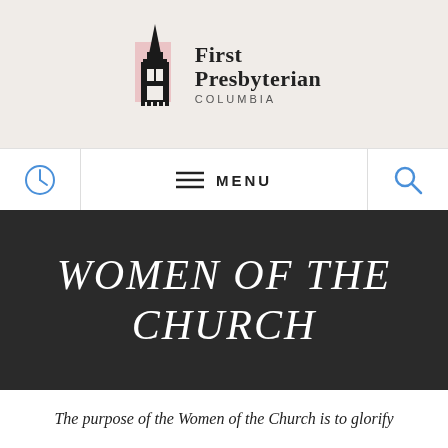[Figure (logo): First Presbyterian Columbia church logo with steeple and pink rectangle background]
≡ MENU
WOMEN OF THE CHURCH
The purpose of the Women of the Church is to glorify